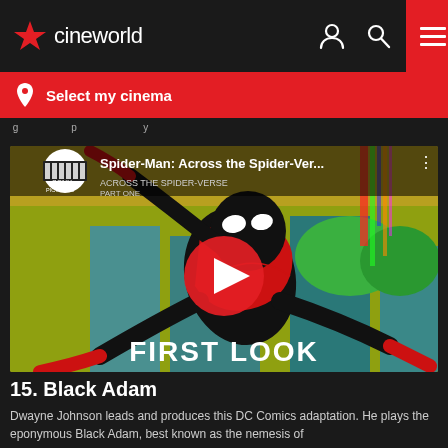cineworld
Select my cinema
breadcrumb navigation text
[Figure (screenshot): YouTube video thumbnail for Spider-Man: Across the Spider-Verse showing Miles Morales in a dynamic pose with 'FIRST LOOK' text overlay and a red play button]
15. Black Adam
Dwayne Johnson leads and produces this DC Comics adaptation. He plays the eponymous Black Adam, best known as the nemesis of